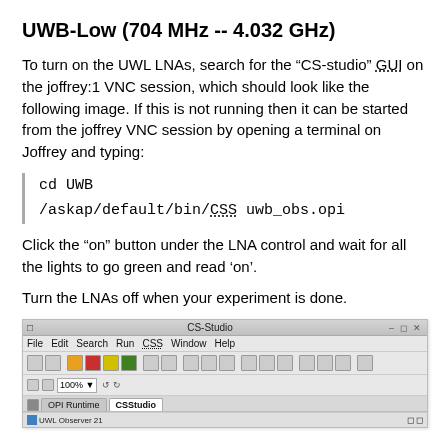UWB-Low (704 MHz -- 4.032 GHz)
To turn on the UWL LNAs, search for the “CS-studio” GUI on the joffrey:1 VNC session, which should look like the following image. If this is not running then it can be started from the joffrey VNC session by opening a terminal on Joffrey and typing:
cd UWB
/askap/default/bin/CSS uwb_obs.opi
Click the “on” button under the LNA control and wait for all the lights to go green and read ‘on’.
Turn the LNAs off when your experiment is done.
[Figure (screenshot): Screenshot of CS-Studio GUI application window showing titlebar with 'CS-Studio', menu bar with File, Edit, Search, Run, CSS, Window, Help, toolbar with icons, zoom control at 100%, tabs for OPI Runtime and CSStudio, and status bar showing UWL Observer 21]